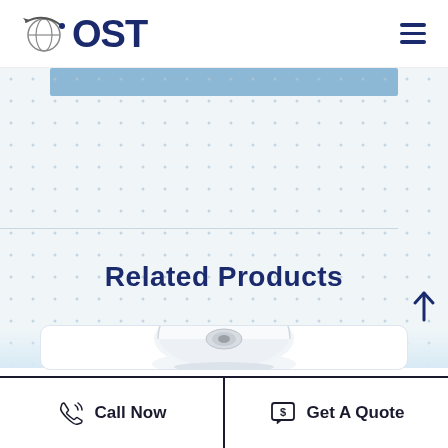[Figure (logo): OST company logo with globe/satellite icon and dark blue OST text]
[Figure (screenshot): Website screenshot showing dotted background, blue banner strip, horizontal divider, Related Products heading, and a product card with a dome camera image at the bottom]
Related Products
[Figure (photo): Dome security camera (Uniview brand) shown from above, white/gray color, partially visible]
Call Now
Get A Quote